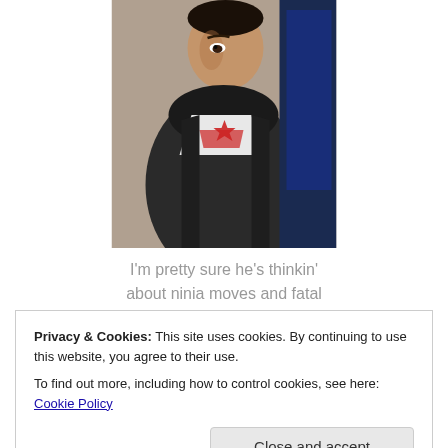[Figure (photo): A man wearing a dark leather jacket over a white and red graphic t-shirt, photographed from the chest up, looking to his left. Dark background with blue lighting visible on the right side.]
I'm pretty sure he's thinkin'
about ninia moves and fatal
Privacy & Cookies: This site uses cookies. By continuing to use this website, you agree to their use.
To find out more, including how to control cookies, see here: Cookie Policy
Close and accept